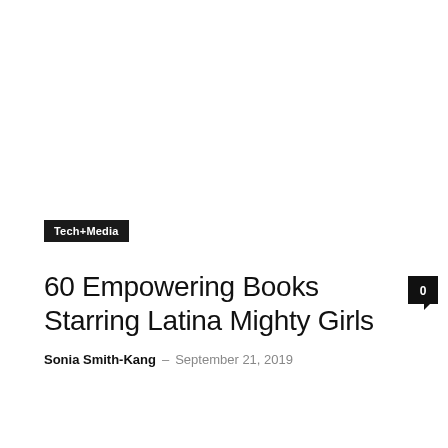Tech+Media
60 Empowering Books Starring Latina Mighty Girls
Sonia Smith-Kang – September 21, 2019